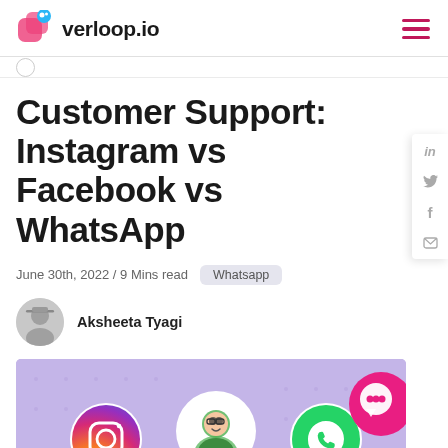verloop.io
Customer Support: Instagram vs Facebook vs WhatsApp
June 30th, 2022 / 9 Mins read   Whatsapp
Aksheeta Tyagi
[Figure (illustration): Hero illustration showing Instagram, WhatsApp, and Facebook customer support icons with a person avatar and chat bubble on a purple background]